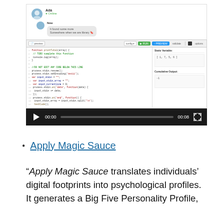[Figure (screenshot): A screenshot of a chat interface showing a user named 'Ada' with status 'Online', and a code editor below with JavaScript code and output panels, along with a video player control bar showing 00:00 / 00:08.]
Apply Magic Sauce
'Apply Magic Sauce translates individuals' digital footprints into psychological profiles. It generates a Big Five Personality Profile,